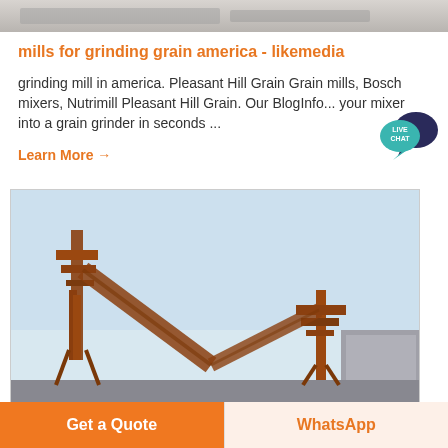[Figure (photo): Partial top image strip showing industrial content]
mills for grinding grain america - likemedia
grinding mill in america. Pleasant Hill Grain Grain mills, Bosch mixers, Nutrimill Pleasant Hill Grain. Our BlogInfo... your mixer into a grain grinder in seconds ...
Learn More →
[Figure (photo): Industrial grain mill facility with orange conveyor structures and metal framework against a light blue sky]
Get a Quote
WhatsApp